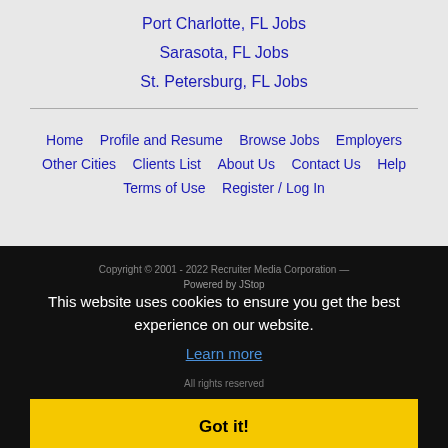Port Charlotte, FL Jobs
Sarasota, FL Jobs
St. Petersburg, FL Jobs
Home  Profile and Resume  Browse Jobs  Employers  Other Cities  Clients List  About Us  Contact Us  Help  Terms of Use  Register / Log In
Copyright © 2001 - 2022 Recruiter Media Corporation —
This website uses cookies to ensure you get the best experience on our website.
Learn more
Got it!